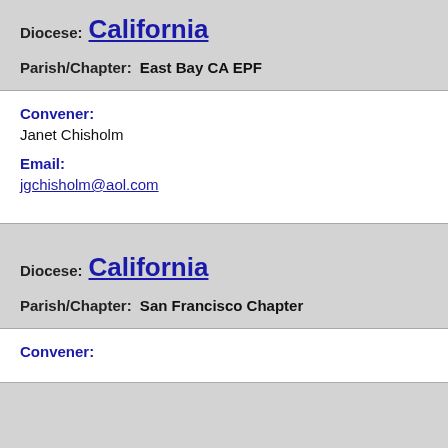Diocese: California
Parish/Chapter: East Bay CA EPF
Convener:
Janet Chisholm
Email:
jgchisholm@aol.com
Diocese: California
Parish/Chapter: San Francisco Chapter
Convener: